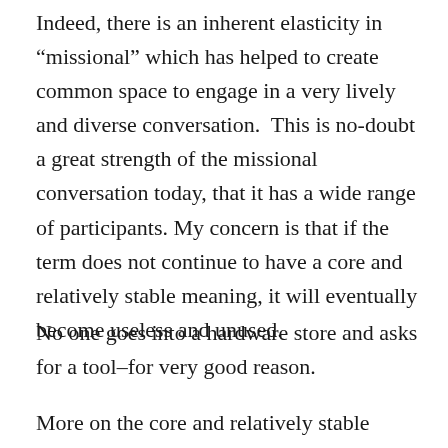Indeed, there is an inherent elasticity in “missional” which has helped to create common space to engage in a very lively and diverse conversation.  This is no-doubt a great strength of the missional conversation today, that it has a wide range of participants. My concern is that if the term does not continue to have a core and relatively stable meaning, it will eventually become useless and unused.
No one goes into a hardware store and asks for a tool–for very good reason.
More on the core and relatively stable meaning